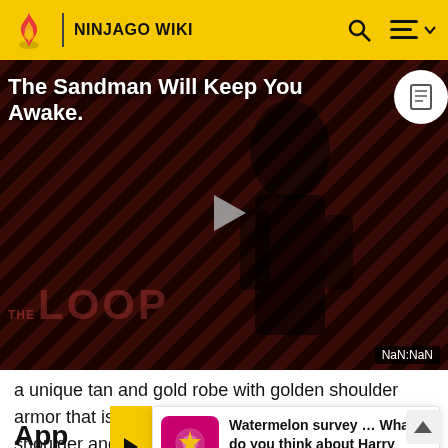NINJAGO WIKI
[Figure (screenshot): Video thumbnail for 'The Sandman Will Keep You Awake' showing a dark figure in black against a red diagonal striped background, with a play button in the center and THE LOOP text at the bottom. NaN:NaN timer shown at bottom right.]
a unique tan and gold robe with golden shoulder armor that is shaped like a cobra head on each shoulder and a gold
[Figure (infographic): Popup advertisement: Watermelon survey icon, text 'Watermelon survey … What do you think about Harry Styles?' with 'TAKE THE SURVEY HERE' link below.]
App